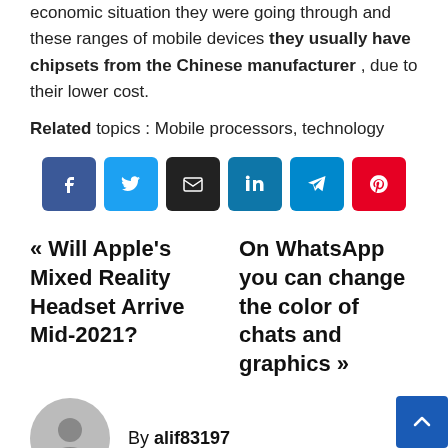economic situation they were going through and these ranges of mobile devices they usually have chipsets from the Chinese manufacturer , due to their lower cost.
Related topics : Mobile processors, technology
[Figure (infographic): Social share buttons: Facebook, Twitter, Email, LinkedIn, Telegram, Pinterest]
« Will Apple's Mixed Reality Headset Arrive Mid-2021?   On WhatsApp you can change the color of chats and graphics »
By alif83197